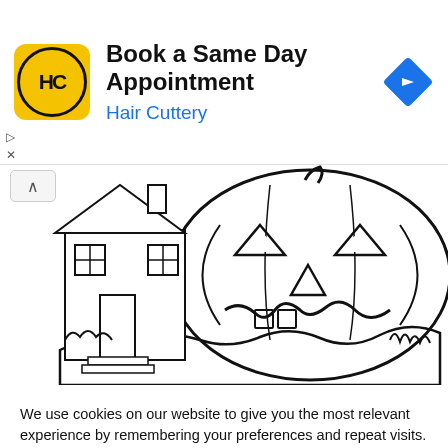[Figure (screenshot): Advertisement banner for Hair Cuttery: 'Book a Same Day Appointment' with HC logo and navigation arrow icon]
[Figure (illustration): Halloween coloring page illustration showing a jack-o'-lantern pumpkin with a carved face (triangle eyes, nose, and jagged smile) sitting in grass, with a haunted house partially visible on the left side. Black and white line drawing style.]
We use cookies on our website to give you the most relevant experience by remembering your preferences and repeat visits. By clicking “Accept”, you consent to the use of ALL the cookies.
Cookie settings
ACCEPT